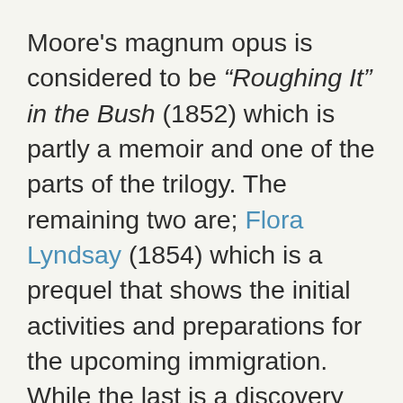Moore's magnum opus is considered to be “Roughing It” in the Bush (1852) which is partly a memoir and one of the parts of the trilogy. The remaining two are; Flora Lyndsay (1854) which is a prequel that shows the initial activities and preparations for the upcoming immigration. While the last is a discovery and an exploration of various cities and towns of Canada, Life in the Clearings (1853). These chronicles lay bare the fact that the promising image of the life in Canada that was